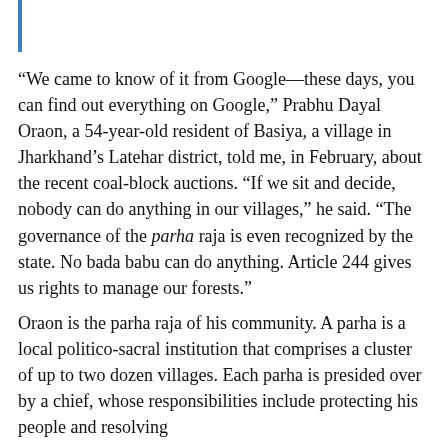“We came to know of it from Google—these days, you can find out everything on Google,” Prabhu Dayal Oraon, a 54-year-old resident of Basiya, a village in Jharkhand’s Latehar district, told me, in February, about the recent coal-block auctions. “If we sit and decide, nobody can do anything in our villages,” he said. “The governance of the parha raja is even recognized by the state. No bada babu can do anything. Article 244 gives us rights to manage our forests.”
Oraon is the parha raja of his community. A parha is a local politico-sacral institution that comprises a cluster of up to two dozen villages. Each parha is presided over by a chief, whose responsibilities include protecting his people and resolving